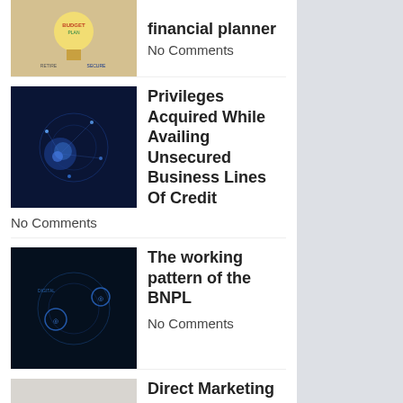[Figure (photo): Lightbulb with financial planning text]
financial planner
No Comments
[Figure (photo): Network technology blue glowing hands]
Privileges Acquired While Availing Unsecured Business Lines Of Credit
No Comments
[Figure (photo): Digital technology dark blue circles]
The working pattern of the BNPL
No Comments
[Figure (photo): Person typing on laptop keyboard]
Direct Marketing Is A Good Opportunity
No Comments
[Figure (photo): Digital technology dark blue circles]
The Tips To Follow So That You Become The Best Direct Marketing.
No Comments
[Figure (photo): People in office meeting]
Everything To Know About The CEO Of MTM. Alexei Orlov